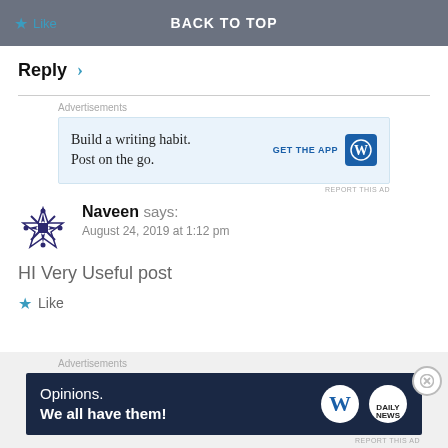Like   BACK TO TOP
Reply ›
[Figure (screenshot): WordPress advertisement banner: 'Build a writing habit. Post on the go.' with GET THE APP button and WordPress logo]
Naveen says: August 24, 2019 at 1:12 pm
HI Very Useful post
Like
[Figure (screenshot): WordPress advertisement banner: 'Opinions. We all have them!' with WordPress and Daily News logos]